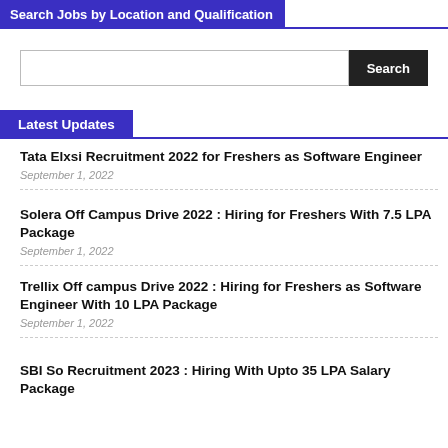Search Jobs by Location and Qualification
Latest Updates
Tata Elxsi Recruitment 2022 for Freshers as Software Engineer
September 1, 2022
Solera Off Campus Drive 2022 : Hiring for Freshers With 7.5 LPA Package
September 1, 2022
Trellix Off campus Drive 2022 : Hiring for Freshers as Software Engineer With 10 LPA Package
September 1, 2022
SBI So Recruitment 2023 : Hiring With Upto 35 LPA Salary Package